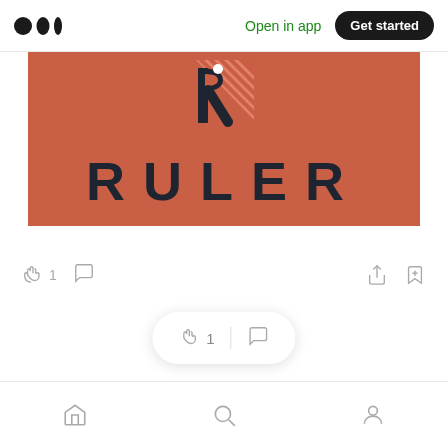Medium logo | Open in app | Get started
[Figure (logo): RULER brand logo on terracotta/rust red background with stylized R icon and text RULER in bold dark letters]
[Figure (other): Action bar with clap icon showing 1, comment icon, share icon, and save/bookmark icon]
[Figure (other): Floating action pill with clap icon showing 1, divider, and comment icon]
Home | Search | Profile